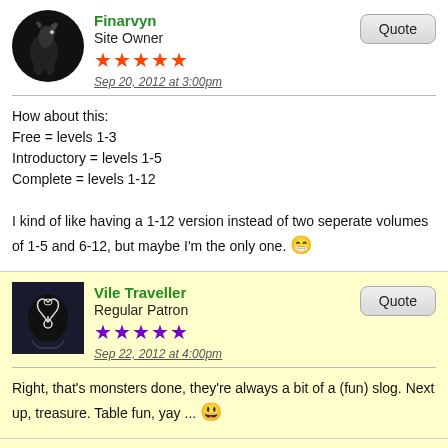Finarvyn
Site Owner
★★★★★ (orange stars)
Sep 20, 2012 at 3:00pm
How about this:
Free = levels 1-3
Introductory = levels 1-5
Complete = levels 1-12

I kind of like having a 1-12 version instead of two seperate volumes of 1-5 and 6-12, but maybe I'm the only one. 😁
Vile Traveller
Regular Patron
★★★★★ (purple stars)
Sep 22, 2012 at 4:00pm
Right, that's monsters done, they're always a bit of a (fun) slog. Next up, treasure. Table fun, yay ... 😃
Vile Traveller